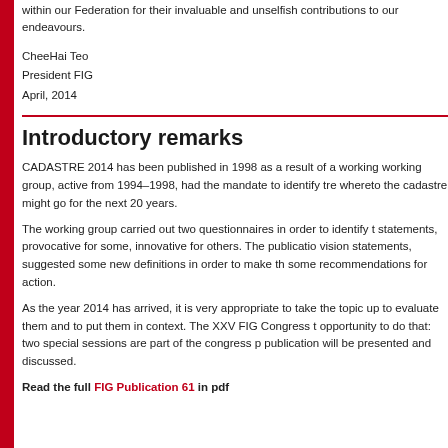within our Federation for their invaluable and unselfish contributions to our endeavours.
CheeHai Teo
President FIG
April, 2014
Introductory remarks
CADASTRE 2014 has been published in 1998 as a result of a working working group, active from 1994–1998, had the mandate to identify trends whereto the cadastre might go for the next 20 years.
The working group carried out two questionnaires in order to identify the statements, provocative for some, innovative for others. The publication vision statements, suggested some new definitions in order to make the some recommendations for action.
As the year 2014 has arrived, it is very appropriate to take the topic up, to evaluate them and to put them in context. The XXV FIG Congress provides opportunity to do that: two special sessions are part of the congress programme. publication will be presented and discussed.
Read the full FIG Publication 61 in pdf